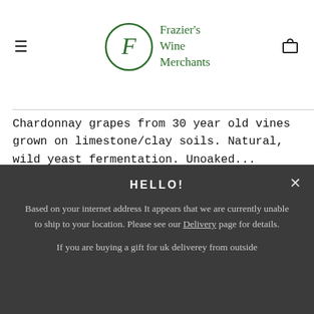Frazier's Wine Merchants
Chardonnay grapes from 30 year old vines grown on limestone/clay soils. Natural, wild yeast fermentation. Unoaked...
£14.00
Quick View
HELLO!
Based on your internet address It appears that we are currently unable to ship to your location. Please see our Delivery page for details.
If you are buying a gift for uk deliverey from outside